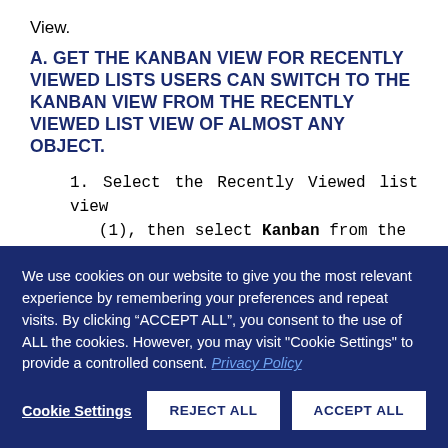View.
A. GET THE KANBAN VIEW FOR RECENTLY VIEWED LISTS USERS CAN SWITCH TO THE KANBAN VIEW FROM THE RECENTLY VIEWED LIST VIEW OF ALMOST ANY OBJECT.
1. Select the Recently Viewed list view (1), then select Kanban from the
We use cookies on our website to give you the most relevant experience by remembering your preferences and repeat visits. By clicking “ACCEPT ALL”, you consent to the use of ALL the cookies. However, you may visit "Cookie Settings" to provide a controlled consent. Privacy Policy
Cookie Settings   REJECT ALL   ACCEPT ALL